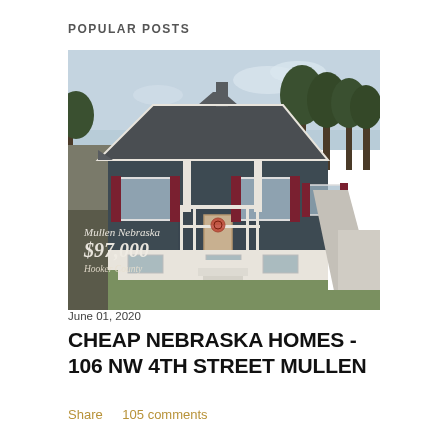POPULAR POSTS
[Figure (photo): Photo of a small single-story home in Mullen Nebraska with dark gray siding, dark roof, white trim, maroon shutters, white foundation, front porch with white railings and stairs, concrete walkway, sparse lawn, and bare trees in background. Price overlay shows: Mullen Nebraska, $97,000, Hooker County]
June 01, 2020
CHEAP NEBRASKA HOMES - 106 NW 4TH STREET MULLEN
Share    105 comments